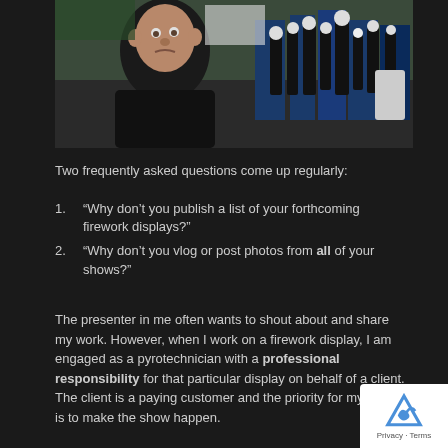[Figure (photo): A man taking a selfie outdoors near firework mortars and pyrotechnic equipment arranged in blue racks. The man is wearing a dark jacket and looking at the camera with a serious expression. Equipment includes multiple black mortar tubes and various pyrotechnic devices.]
Two frequently asked questions come up regularly:
“Why don’t you publish a list of your forthcoming firework displays?”
“Why don’t you vlog or post photos from all of your shows?”
The presenter in me often wants to shout about and share my work. However, when I work on a firework display, I am engaged as a pyrotechnician with a professional responsibility for that particular display on behalf of a client. The client is a paying customer and the priority for my team is to make the show happen.